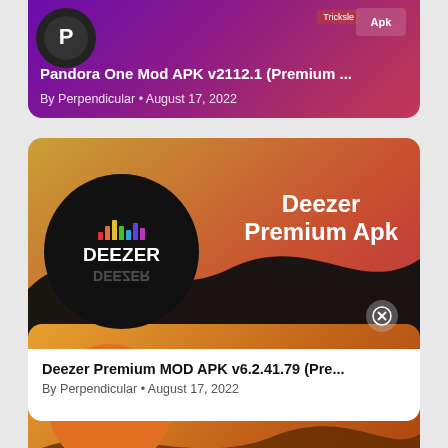[Figure (screenshot): Pandora One Mod APK card (partially visible at top) with purple-pink gradient background, Pandora logo, title text and metadata]
Pandora One Mod APK v2112.1 (Premium ...
By Perpendicular • August 17, 2022
[Figure (screenshot): Deezer Premium Apk card with orange-red gradient background, Deezer logo in black circle, close button, and white bottom bar with title and metadata]
Deezer Premium MOD APK v6.2.41.79 (Pre...
By Perpendicular • August 17, 2022
[Figure (screenshot): Free Chegg Answers card (partially visible at bottom) with orange gradient background, Chegg logo in circle, and Free Chegg Answers text]